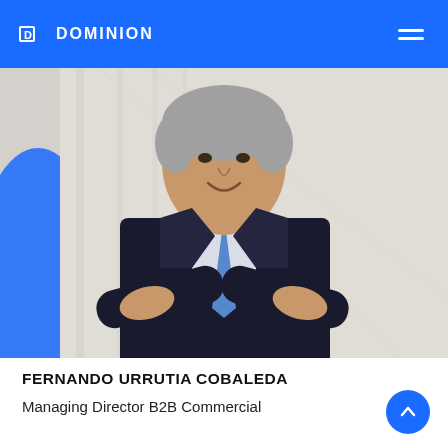DOMINION
[Figure (photo): Professional headshot of Fernando Urrutia Cobaleda in dark suit with blue tie, arms crossed, smiling, against a light background with blue element on the left.]
FERNANDO URRUTIA COBALEDA
Managing Director B2B Commercial